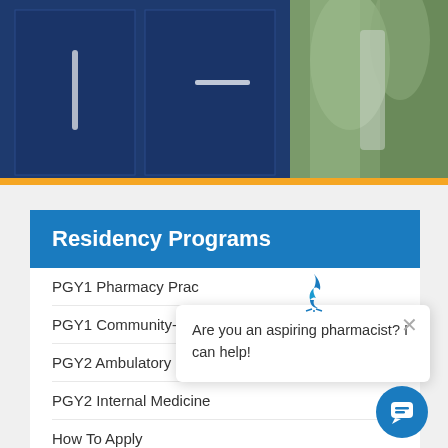[Figure (photo): Top portion of page showing a blue medical cabinet/equipment and green plant background]
Residency Programs
PGY1 Pharmacy Prac...
PGY1 Community-B...
PGY2 Ambulatory Ca...
PGY2 Internal Medicine
How To Apply
Teaching & Learning Curriculum
[Figure (screenshot): Chat popup widget with text 'Are you an aspiring pharmacist? I can help!' and a close button, with a chat bubble button at bottom right]